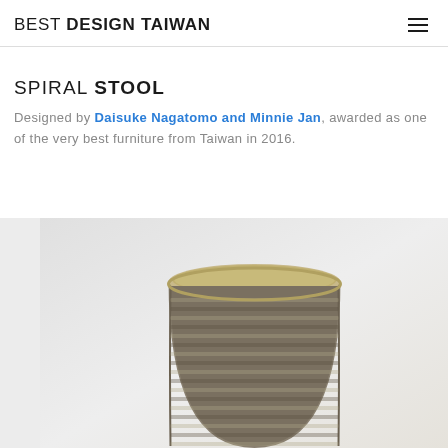BEST DESIGN TAIWAN
SPIRAL STOOL
Designed by Daisuke Nagatomo and Minnie Jan, awarded as one of the very best furniture from Taiwan in 2016.
[Figure (photo): Photo of the Spiral Stool — a cylindrical stool with a woven/textured surface and flat top, shown on a light background.]